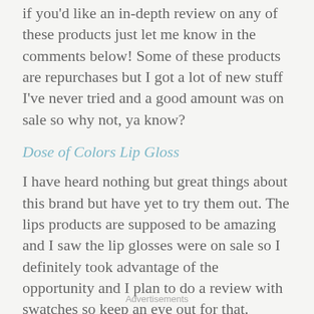if you'd like an in-depth review on any of these products just let me know in the comments below! Some of these products are repurchases but I got a lot of new stuff I've never tried and a good amount was on sale so why not, ya know?
Dose of Colors Lip Gloss
I have heard nothing but great things about this brand but have yet to try them out. The lips products are supposed to be amazing and I saw the lip glosses were on sale so I definitely took advantage of the opportunity and I plan to do a review with swatches so keep an eye out for that.
Advertisements